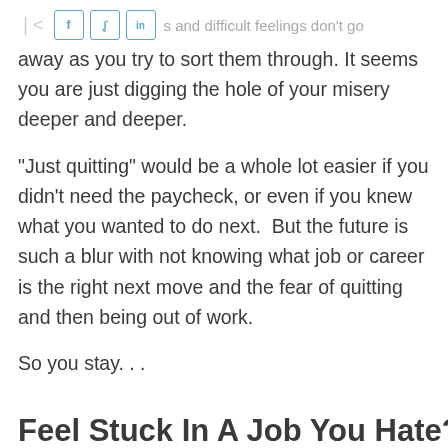All depressive symptoms and difficult feelings don't go
All depressive symptoms and difficult feelings don't go away as you try to sort them through. It seems you are just digging the hole of your misery deeper and deeper.
“Just quitting” would be a whole lot easier if you didn’t need the paycheck, or even if you knew what you wanted to do next.  But the future is such a blur with not knowing what job or career is the right next move and the fear of quitting and then being out of work.
So you stay. . .
Feel Stuck In A Job You Hate? H